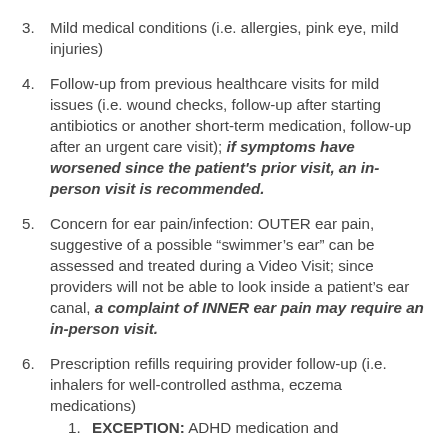3. Mild medical conditions (i.e. allergies, pink eye, mild injuries)
4. Follow-up from previous healthcare visits for mild issues (i.e. wound checks, follow-up after starting antibiotics or another short-term medication, follow-up after an urgent care visit); if symptoms have worsened since the patient’s prior visit, an in-person visit is recommended.
5. Concern for ear pain/infection: OUTER ear pain, suggestive of a possible “swimmer’s ear” can be assessed and treated during a Video Visit; since providers will not be able to look inside a patient’s ear canal, a complaint of INNER ear pain may require an in-person visit.
6. Prescription refills requiring provider follow-up (i.e. inhalers for well-controlled asthma, eczema medications)
1. EXCEPTION: ADHD medication and